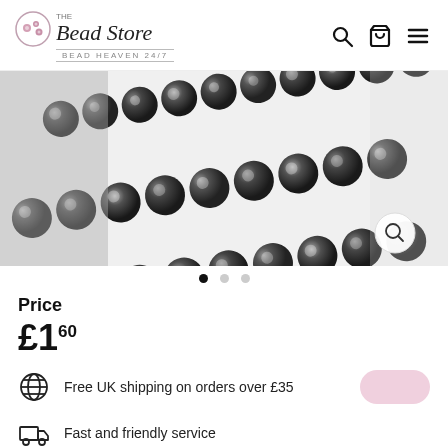The Bead Store — Bead Heaven 24/7
[Figure (photo): Close-up photo of multiple strands of dark grey/black hematite beads arranged diagonally on a white background. Shiny, round beads with metallic reflections.]
Price
£1.60
Free UK shipping on orders over £35
Fast and friendly service